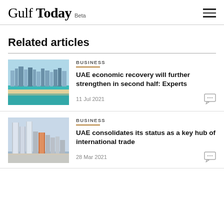Gulf Today Beta
Related articles
[Figure (photo): Aerial view of Dubai coastline and skyline with beach and teal water]
BUSINESS
UAE economic recovery will further strengthen in second half: Experts
11 Jul 2021
[Figure (photo): Abu Dhabi skyline with modern skyscrapers and waterfront]
BUSINESS
UAE consolidates its status as a key hub of international trade
28 Mar 2021